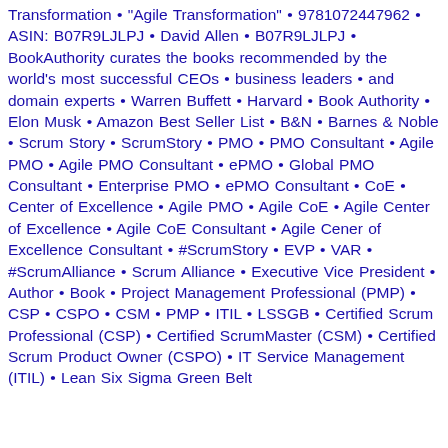Transformation • "Agile Transformation" • 9781072447962 • ASIN: B07R9LJLPJ • David Allen • B07R9LJLPJ • BookAuthority curates the books recommended by the world's most successful CEOs • business leaders • and domain experts • Warren Buffett • Harvard • Book Authority • Elon Musk • Amazon Best Seller List • B&N • Barnes & Noble • Scrum Story • ScrumStory • PMO • PMO Consultant • Agile PMO • Agile PMO Consultant • ePMO • Global PMO Consultant • Enterprise PMO • ePMO Consultant • CoE • Center of Excellence • Agile PMO • Agile CoE • Agile Center of Excellence • Agile CoE Consultant • Agile Cener of Excellence Consultant • #ScrumStory • EVP • VAR • #ScrumAlliance • Scrum Alliance • Executive Vice President • Author • Book • Project Management Professional (PMP) • CSP • CSPO • CSM • PMP • ITIL • LSSGB • Certified Scrum Professional (CSP) • Certified ScrumMaster (CSM) • Certified Scrum Product Owner (CSPO) • IT Service Management (ITIL) • Lean Six Sigma Green Belt (LSSGB)